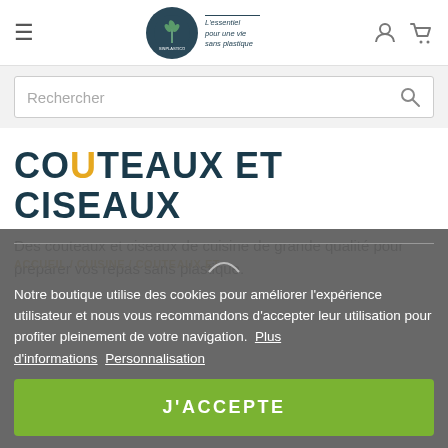[Figure (logo): Sinplastico logo with teal circle containing plant/wheat icon and tagline 'L'essentiel pour une vie sans plastique']
Rechercher
COUTEAUX ET CISEAUX
Des couteaux et ciseaux de cuisine de grande qualité pour préparer vos repas sans plastique.
ACCUEIL / CUISINE / COUTEAUX ET
Notre boutique utilise des cookies pour améliorer l'expérience utilisateur et nous vous recommandons d'accepter leur utilisation pour profiter pleinement de votre navigation.  Plus d'informations  Personnalisation
J'ACCEPTE